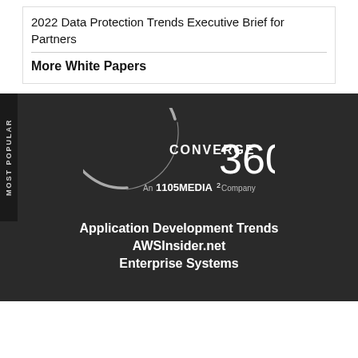2022 Data Protection Trends Executive Brief for Partners
More White Papers
[Figure (logo): Converge 360 logo - stylized circle arc with text 'CONVERGE 360', subtitle 'An 1105 MEDIA² Company', white on dark background]
Application Development Trends
AWSInsider.net
Enterprise Systems